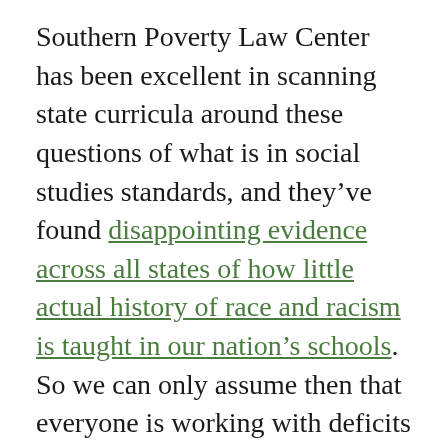Southern Poverty Law Center has been excellent in scanning state curricula around these questions of what is in social studies standards, and they've found disappointing evidence across all states of how little actual history of race and racism is taught in our nation's schools. So we can only assume then that everyone is working with deficits in these areas unless we know otherwise — unless we know that a person has particular professional experience and/or educational experience. Even when